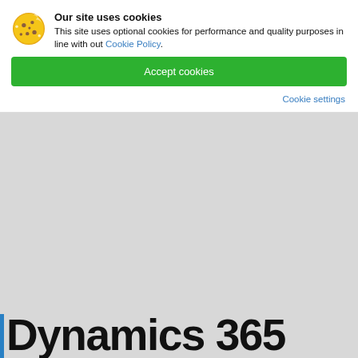[Figure (screenshot): Cookie consent banner with cookie icon, bold title 'Our site uses cookies', description text, Accept cookies green button, and Cookie settings link]
Dynamics 365 Commerce Attach to Qualifying Dynamics 365 Base Offer for Faculty
One year commitment billed every month but with pay-per-day